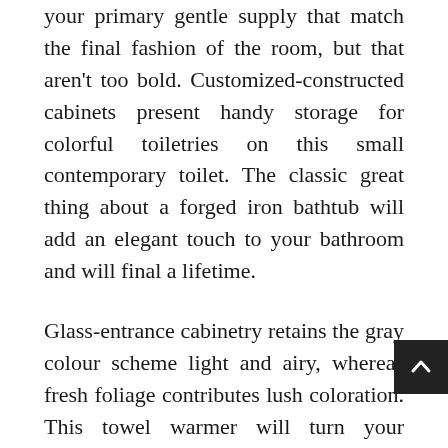your primary gentle supply that match the final fashion of the room, but that aren't too bold. Customized-constructed cabinets present handy storage for colorful toiletries on this small contemporary toilet. The classic great thing about a forged iron bathtub will add an elegant touch to your bathroom and will final a lifetime.
Glass-entrance cabinetry retains the gray colour scheme light and airy, whereas fresh foliage contributes lush coloration. This towel warmer will turn your ordinary bathroom into an extraodinary area. Megan McKenna Superstar X Issue winner Megan McKenna's kitchen had an expensive makeover courtesy of Wren Kitchens, with glossy white cupboards, and a spacious island unit with blue velvet bar stools so as to add a splash of color to the monochrome house.